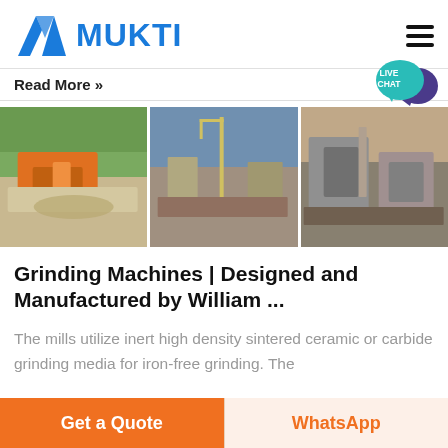MUKTI
Read More »
[Figure (photo): Three photos of mining/crushing equipment and quarry sites side by side]
Grinding Machines | Designed and Manufactured by William ...
The mills utilize inert high density sintered ceramic or carbide grinding media for iron-free grinding. The
Get a Quote
WhatsApp